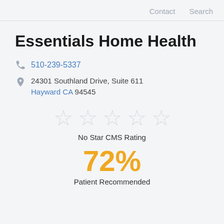Contact  Search
Essentials Home Health
510-239-5337
24301 Southland Drive, Suite 611 Hayward CA 94545
[Figure (other): Five empty/outline star icons indicating No Star CMS Rating]
No Star CMS Rating
72%
Patient Recommended